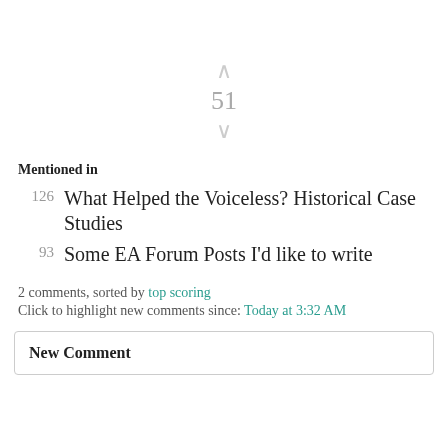[Figure (other): Vote widget showing up arrow, score 51, and down arrow in light gray]
Mentioned in
126  What Helped the Voiceless? Historical Case Studies
93  Some EA Forum Posts I'd like to write
2 comments, sorted by top scoring
Click to highlight new comments since: Today at 3:32 AM
New Comment